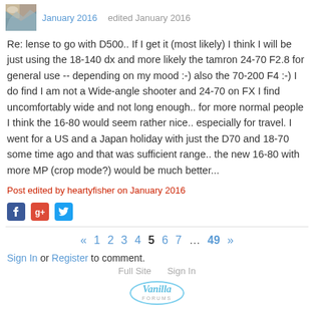January 2016   edited January 2016
Re: lense to go with D500.. If I get it (most likely) I think I will be just using the 18-140 dx and more likely the tamron 24-70 F2.8 for general use -- depending on my mood :-) also the 70-200 F4 :-) I do find I am not a Wide-angle shooter and 24-70 on FX I find uncomfortably wide and not long enough.. for more normal people I think the 16-80 would seem rather nice.. especially for travel. I went for a US and a Japan holiday with just the D70 and 18-70 some time ago and that was sufficient range.. the new 16-80 with more MP (crop mode?) would be much better...
Post edited by heartyfisher on January 2016
[Figure (other): Social sharing icons: Facebook, Google+, Twitter]
« 1 2 3 4 5 6 7 ... 49 »
Sign In or Register to comment.
Full Site   Sign In
[Figure (logo): Vanilla Forums logo]